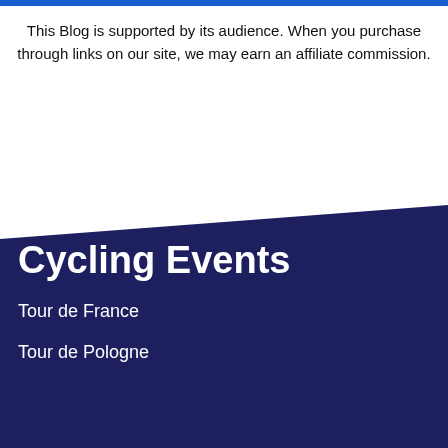This Blog is supported by its audience. When you purchase through links on our site, we may earn an affiliate commission.
Cycling Events
Tour de France
Tour de Pologne